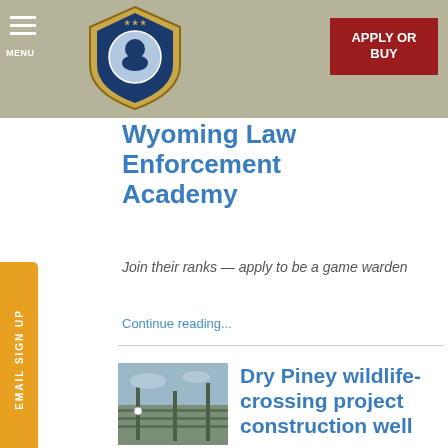MENU | Wyoming Game & Fish Department | APPLY OR BUY
Wyoming Law Enforcement Academy
Join their ranks — apply to be a game warden
Continue reading...
[Figure (photo): Thumbnail photo related to Dry Piney wildlife-crossing project]
Dry Piney wildlife-crossing project construction well